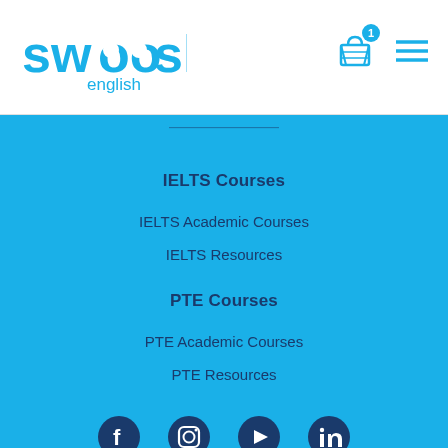[Figure (logo): Swoosh English logo in blue text with 'english' beneath]
[Figure (other): Shopping cart icon with badge showing 1, and hamburger menu icon]
IELTS Courses
IELTS Academic Courses
IELTS Resources
PTE Courses
PTE Academic Courses
PTE Resources
[Figure (other): Social media icons: Facebook, Instagram, YouTube, LinkedIn]